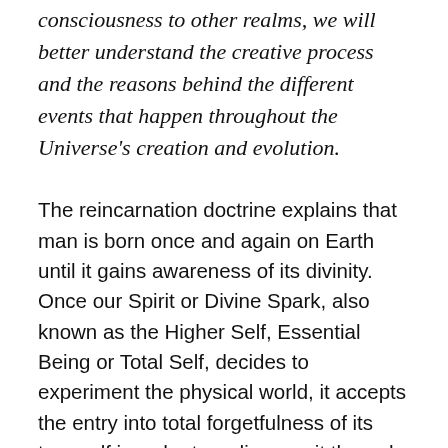consciousness to other realms, we will better understand the creative process and the reasons behind the different events that happen throughout the Universe's creation and evolution.
The reincarnation doctrine explains that man is born once and again on Earth until it gains awareness of its divinity. Once our Spirit or Divine Spark, also known as the Higher Self, Essential Being or Total Self, decides to experiment the physical world, it accepts the entry into total forgetfulness of its true self in order to rediscover it through multiple experiences. All these lives take place simultaneously within an eternal present, because lineal time as we perceive it while we are incarnate is not lineal at all. But since we are immersed in the